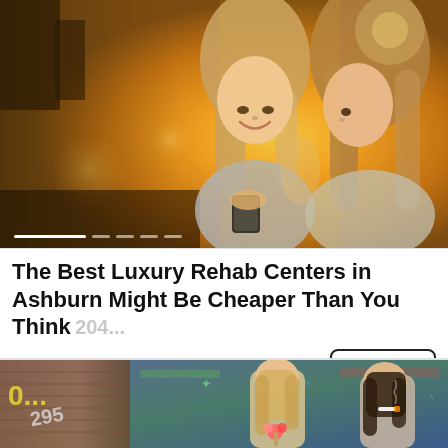[Figure (photo): Two young women sitting outdoors in warm golden sunset light, one smiling and holding a phone, the other facing her. Bokeh background with warm orange glow.]
The Best Luxury Rehab Centers in Ashburn Might Be Cheaper Than You Think
Rehab Center | Search Ads | Sponsored
[Figure (photo): Two young women standing in front of graffiti-covered wall. One holds a flower, the other smokes. Graffiti includes numbers and colorful street art.]